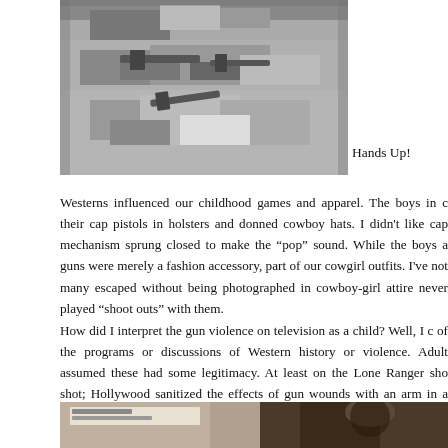[Figure (photo): Black and white photo of what appears to be guns or mechanical parts on grass or ground, cropped at top of page]
Hands Up!
Westerns influenced our childhood games and apparel. The boys in c their cap pistols in holsters and donned cowboy hats. I didn't like cap mechanism sprung closed to make the “pop” sound. While the boys a guns were merely a fashion accessory, part of our cowgirl outfits. I've not many escaped without being photographed in cowboy-girl attire never played “shoot outs” with them.
How did I interpret the gun violence on television as a child? Well, I c of the programs or discussions of Western history or violence. Adult assumed these had some legitimacy. At least on the Lone Ranger sho shot; Hollywood sanitized the effects of gun wounds with an arm in a realized that TV westerns were pretend–just like our plastic guns.
[Figure (photo): Partial photo at bottom of page showing what appears to be a child or person, partially cropped]